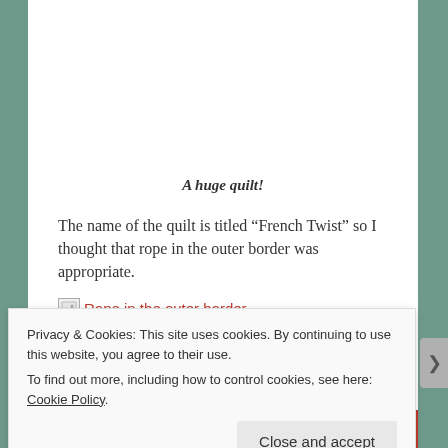A huge quilt!
The name of the quilt is titled “French Twist” so I thought that rope in the outer border was appropriate.
[Figure (photo): Broken image placeholder with alt text 'Rope in the outer border.' displayed in red text next to broken image icon]
Privacy & Cookies: This site uses cookies. By continuing to use this website, you agree to their use.
To find out more, including how to control cookies, see here: Cookie Policy